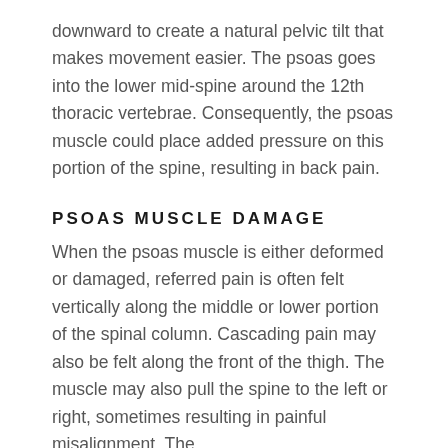downward to create a natural pelvic tilt that makes movement easier. The psoas goes into the lower mid-spine around the 12th thoracic vertebrae. Consequently, the psoas muscle could place added pressure on this portion of the spine, resulting in back pain.
PSOAS MUSCLE DAMAGE
When the psoas muscle is either deformed or damaged, referred pain is often felt vertically along the middle or lower portion of the spinal column. Cascading pain may also be felt along the front of the thigh. The muscle may also pull the spine to the left or right, sometimes resulting in painful misalignment. The